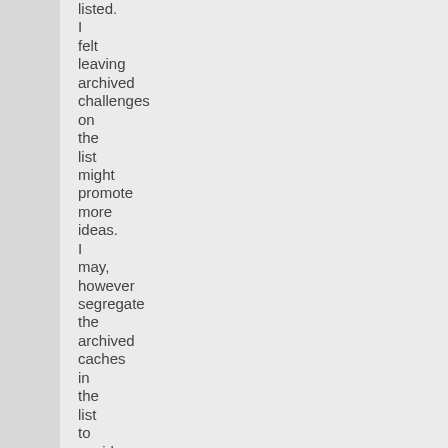listed. I felt leaving archived challenges on the list might promote more ideas. I may, however segregate the archived caches in the list to avoid confusion.

If anyone feels there